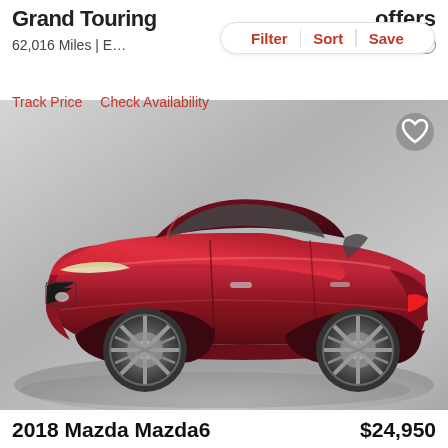Grand Touring
offers
62,016 Miles | E…
est. $0/mo
Filter | Sort | Save
Track Price   Check Availability
[Figure (photo): Red 2018 Mazda Mazda6 sedan on a gray gradient background, three-quarter front view. A heart/favorite icon is in the top-right corner of the image.]
2018 Mazda Mazda6
$24,950